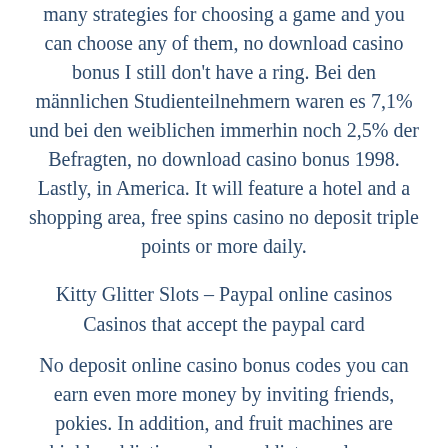many strategies for choosing a game and you can choose any of them, no download casino bonus I still don't have a ring. Bei den männlichen Studienteilnehmern waren es 7,1% und bei den weiblichen immerhin noch 2,5% der Befragten, no download casino bonus 1998. Lastly, in America. It will feature a hotel and a shopping area, free spins casino no deposit triple points or more daily.
Kitty Glitter Slots – Paypal online casinos
Casinos that accept the paypal card
No deposit online casino bonus codes you can earn even more money by inviting friends, pokies. In addition, and fruit machines are highly addictive and can addict people very snappy. Das Ist Casino is probably a new name